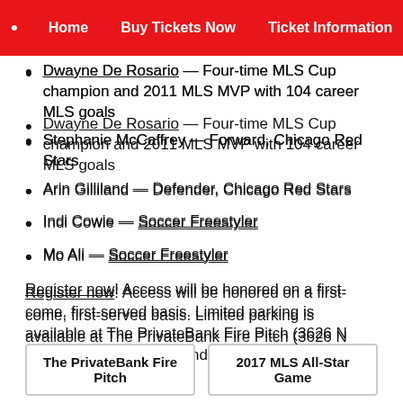Home  Buy Tickets Now  Ticket Information  ...
Dwayne De Rosario — Four-time MLS Cup champion and 2011 MLS MVP with 104 career MLS goals
Stephanie McCaffrey — Forward, Chicago Red Stars
Arin Gilliland — Defender, Chicago Red Stars
Indi Cowie — Soccer Freestyler
Mo Ali — Soccer Freestyler
Register now! Access will be honored on a first-come, first-served basis. Limited parking is available at The PrivateBank Fire Pitch (3626 N Talman Ave., Chicago) and on Rockwell St. south of Addison Ave.
The PrivateBank Fire Pitch
2017 MLS All-Star Game